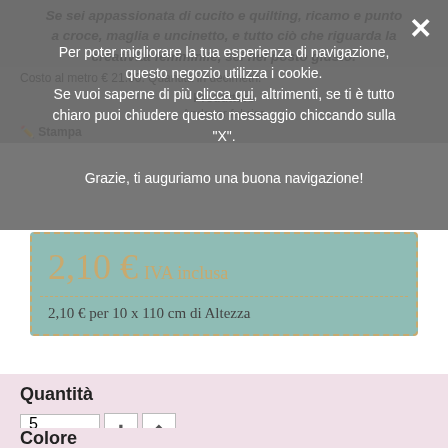Se sei appassionata di cucito e quilting, ricamo e punto a croce, maglia e uncinetto, e tutto ciò che riguarda la creatività femminile, sei nel posto giusto!
Costo al metro € 21.00. Quantità in decimetri.
Produttore
Andover fabrics
Stampa
Per poter migliorare la tua esperienza di navigazione, questo negozio utilizza i cookie. Se vuoi saperne di più clicca qui, altrimenti, se ti è tutto chiaro puoi chiudere questo messaggio chiccando sulla "X". Grazie, ti auguriamo una buona navigazione!
2,10 € IVA inclusa
2,10 € per 10 x 110 cm di Altezza
Quantità
5
La quantità minima ordinabile per questo prodotto è 5
Colore